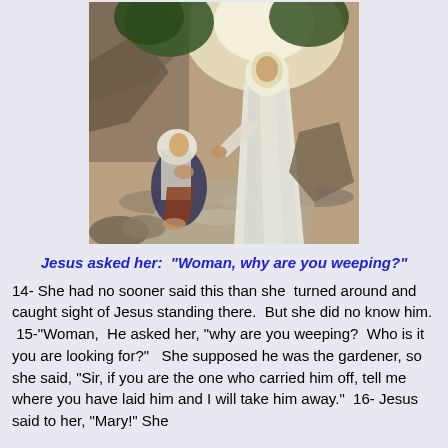[Figure (illustration): Religious painting depicting Mary Magdalene kneeling on a stone path, and Jesus standing in white robes, set against a rocky landscape with trees and bright light]
Jesus asked her:  "Woman, why are you weeping?"
14- She had no sooner said this than she  turned around and caught sight of Jesus standing there.  But she did no know him.  15-"Woman,  He asked her, "why are you weeping?  Who is it you are looking for?"   She supposed he was the gardener, so she said, "Sir, if you are the one who carried him off, tell me where you have laid him and I will take him away."  16- Jesus said to her, "Mary!" She